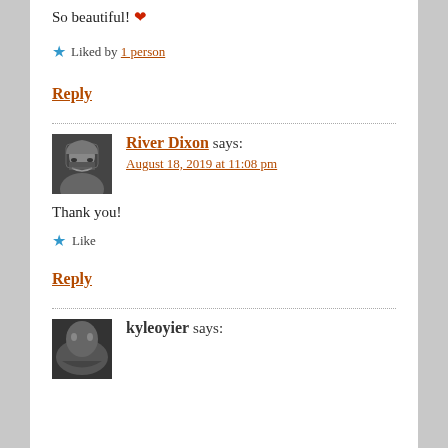So beautiful! ❤
★ Liked by 1 person
Reply
River Dixon says: August 18, 2019 at 11:08 pm
Thank you!
★ Like
Reply
kyleoyier says: